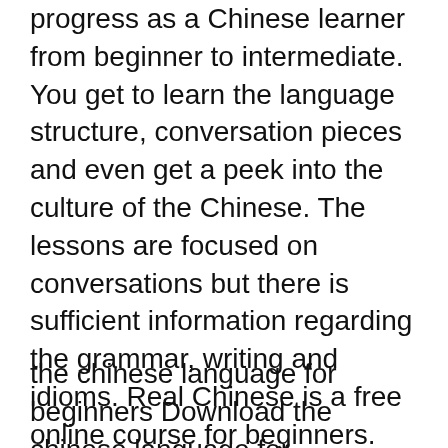These are written to accompany your progress as a Chinese learner from beginner to intermediate. You get to learn the language structure, conversation pieces and even get a peek into the culture of the Chinese. The lessons are focused on conversations but there is sufficient information regarding the grammar, writing and idioms. Real Chinese is a free online course for beginners. Chinese holiday phrases with sound, quizzes, video clips and a handy pronunciation guide Chinese holiday phrases with sound, quizzes, video
the chinese language for beginners Download the chinese language for beginners or read online books in PDF